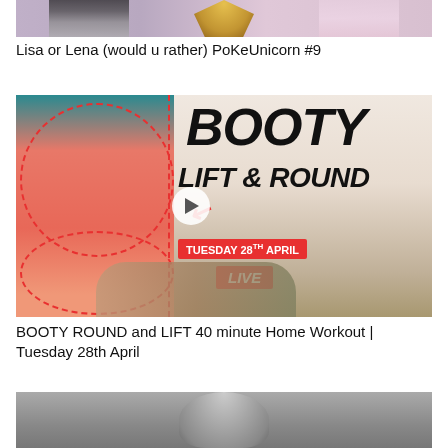[Figure (screenshot): Partial thumbnail image showing two figures in skirts at top of page (cropped)]
Lisa or Lena (would u rather) PoKeUnicorn #9
[Figure (screenshot): Thumbnail for 'BOOTY LIFT & ROUND' workout video. Shows woman in pink shorts on left with dashed red circle outline, large bold text 'BOOTY LIFT & ROUND' on right, red badge reading 'TUESDAY 28TH APRIL', red badge reading 'LIVE', woman doing exercise on floor, play button overlay, red arrow.]
BOOTY ROUND and LIFT 40 minute Home Workout | Tuesday 28th April
[Figure (photo): Partial thumbnail showing black and white photo of a person's head and upper body (cropped at bottom of page)]